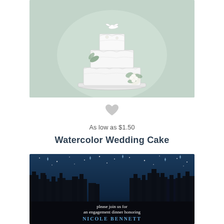[Figure (illustration): Watercolor illustration of a three-tiered white wedding cake with floral decorations (white roses and greenery) on a light mint/sage green background.]
[Figure (illustration): Small gray heart icon/favorite button between the two product cards.]
As low as $1.50
Watercolor Wedding Cake
[Figure (illustration): Engagement dinner invitation card with a dark navy blue city skyline silhouette at night with stars. Text reads: 'please join us for an engagement dinner honoring NICOLE BENNETT and CRAIG BRYANT saturday, september 27 7:00 p.m. ABOVE at the redmont hotel 2101 fifth avenue north birmingham, al Hosted by:']